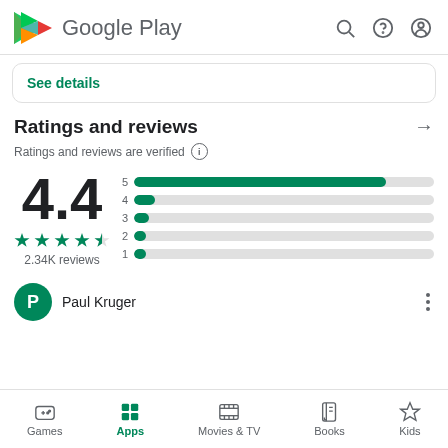Google Play
See details
Ratings and reviews
Ratings and reviews are verified
[Figure (bar-chart): Rating distribution]
Paul Kruger
Games  Apps  Movies & TV  Books  Kids